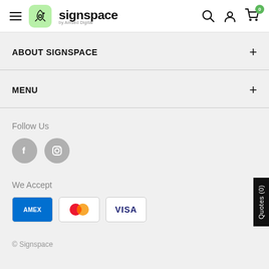signspace by Amsed Digital — navigation header with hamburger menu, logo, search, account, cart (0)
ABOUT SIGNSPACE
MENU
Follow Us
We Accept
© Signspace